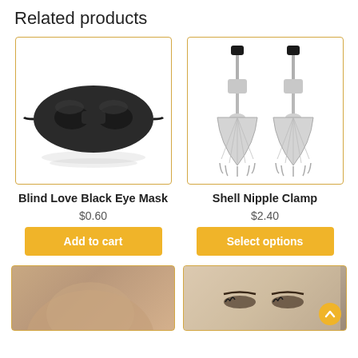Related products
[Figure (photo): Black satin sleep/eye mask on white background]
Blind Love Black Eye Mask
$0.60
Add to cart
[Figure (photo): Silver shell-shaped nipple clamps with black tips on white background]
Shell Nipple Clamp
$2.40
Select options
[Figure (photo): Partial view of a person's back/shoulders, cropped]
[Figure (photo): Close-up of a woman's face with eyes looking up, with a yellow scroll-up button overlay]